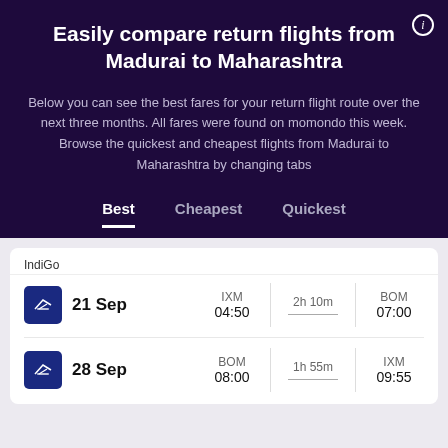Easily compare return flights from Madurai to Maharashtra
Below you can see the best fares for your return flight route over the next three months. All fares were found on momondo this week. Browse the quickest and cheapest flights from Madurai to Maharashtra by changing tabs
Best   Cheapest   Quickest
| Airline | Date | Departure Airport | Departure Time | Duration | Arrival Airport | Arrival Time |
| --- | --- | --- | --- | --- | --- | --- |
| IndiGo | 21 Sep | IXM | 04:50 | 2h 10m | BOM | 07:00 |
| IndiGo | 28 Sep | BOM | 08:00 | 1h 55m | IXM | 09:55 |